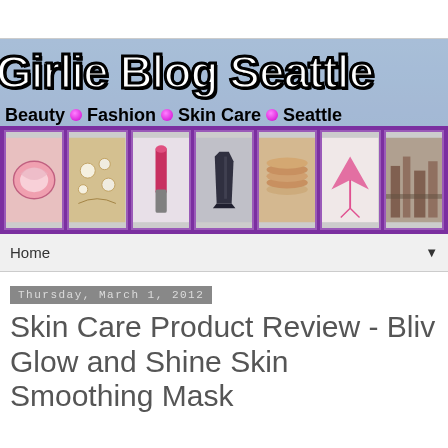[Figure (illustration): Girlie Blog Seattle website banner with blog title, subtitle 'Beauty • Fashion • Skin Care • Seattle', and a strip of product/lifestyle thumbnail images at the bottom on a purple bar]
Home ▼
Thursday, March 1, 2012
Skin Care Product Review - Bliv Glow and Shine Skin Smoothing Mask